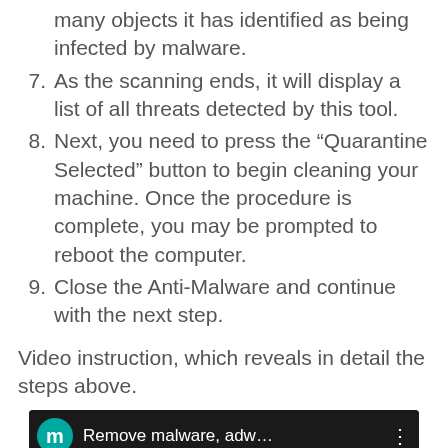many objects it has identified as being infected by malware.
7. As the scanning ends, it will display a list of all threats detected by this tool.
8. Next, you need to press the “Quarantine Selected” button to begin cleaning your machine. Once the procedure is complete, you may be prompted to reboot the computer.
9. Close the Anti-Malware and continue with the next step.
Video instruction, which reveals in detail the steps above.
[Figure (screenshot): YouTube video thumbnail showing 'Remove malware, adw...' with a teal avatar circle with letter m, red YouTube play button, and a blurred screenshot of a software interface in the background.]